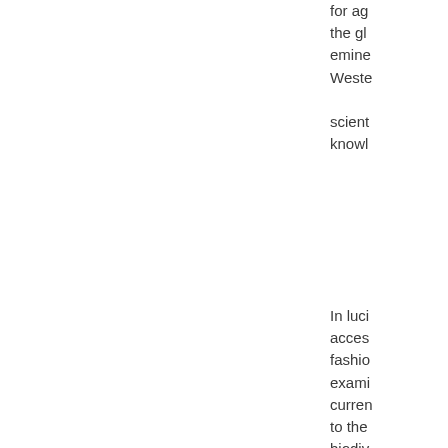for ag the gl emine Weste scient knowl
In luci acces fashio exami curren to the biodiv the enviro and h conse of its o and replac mono produ shows